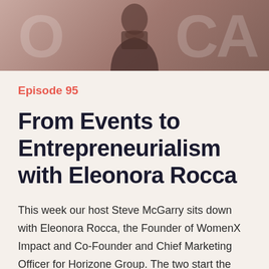[Figure (photo): Black and white photo of a person (partially visible) in front of a background with large letters, cropped at top of page]
Episode 95
From Events to Entrepreneurialism with Eleonora Rocca
This week our host Steve McGarry sits down with Eleonora Rocca, the Founder of WomenX Impact and Co-Founder and Chief Marketing Officer for Horizone Group. The two start the show talking about her background in entrepreneurialism, and